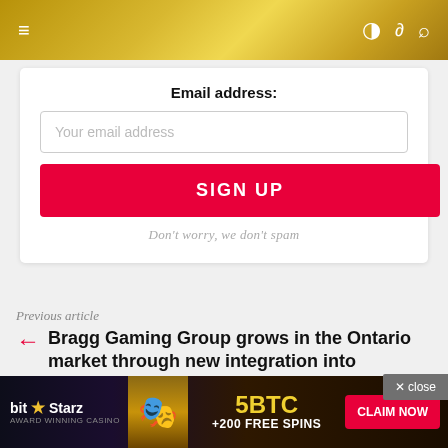Navigation bar with menu and icons
Email address:
Your email address
SIGN UP
Don't worry, we don't spam
Previous article
Bragg Gaming Group grows in the Ontario market through new integration into SkillOnNet's brands
Next article
DraftKings to release new iteration of
[Figure (screenshot): BitStarz casino advertisement banner with '5BTC +200 FREE SPINS' and CLAIM NOW button]